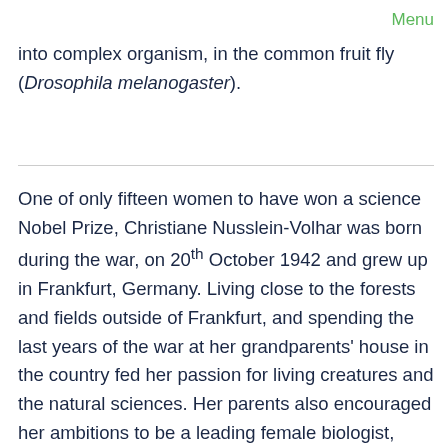Menu
into complex organism, in the common fruit fly (Drosophila melanogaster).
One of only fifteen women to have won a science Nobel Prize, Christiane Nusslein-Volhar was born during the war, on 20th October 1942 and grew up in Frankfurt, Germany. Living close to the forests and fields outside of Frankfurt, and spending the last years of the war at her grandparents' house in the country fed her passion for living creatures and the natural sciences. Her parents also encouraged her ambitions to be a leading female biologist, often buying her books and other material that she would ask for. At school, her aptitude for the sciences became apparent, whilst